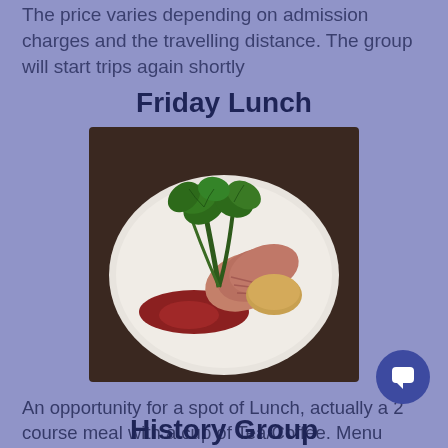The price varies depending on admission charges and the travelling distance. The group will start trips again shortly
Friday Lunch
[Figure (photo): A plated restaurant-style meal featuring sliced meat (duck or pork), kale/greens, a round potato cake or scone, and red sauce, served on a white plate against a dark background.]
An opportunity for a spot of Lunch, actually a 2 course meal with a cup of Tea/Coffee. Menu varies each week, so a quick phone call to ask what is being served and to book a place is all that is required. Meal is served at 12.45 and is self service. Cost is £5.50. This activity is open.
History Group